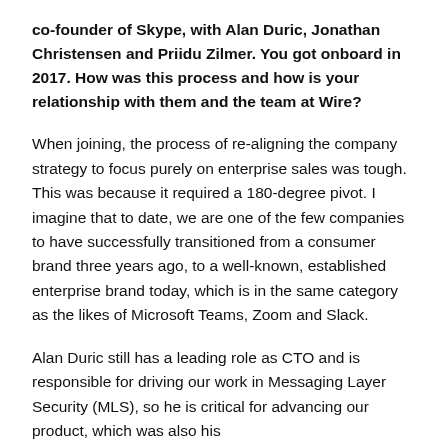co-founder of Skype, with Alan Duric, Jonathan Christensen and Priidu Zilmer. You got onboard in 2017. How was this process and how is your relationship with them and the team at Wire?
When joining, the process of re-aligning the company strategy to focus purely on enterprise sales was tough. This was because it required a 180-degree pivot. I imagine that to date, we are one of the few companies to have successfully transitioned from a consumer brand three years ago, to a well-known, established enterprise brand today, which is in the same category as the likes of Microsoft Teams, Zoom and Slack.
Alan Duric still has a leading role as CTO and is responsible for driving our work in Messaging Layer Security (MLS), so he is critical for advancing our product, which was also his